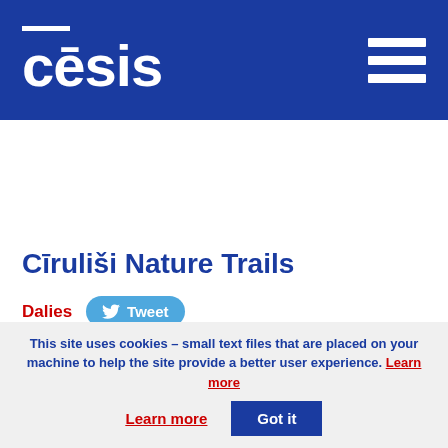cēsis
Cīruliši Nature Trails
Dalies  Tweet
The Cīruliši Nature Trails will introduce you to the evolution of the beautiful Gauja River valley from Ice age to
This site uses cookies – small text files that are placed on your machine to help the site provide a better user experience. Learn more  Got it